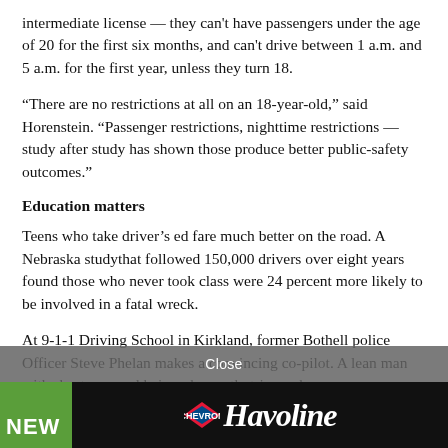intermediate license — they can't have passengers under the age of 20 for the first six months, and can't drive between 1 a.m. and 5 a.m. for the first year, unless they turn 18.
“There are no restrictions at all on an 18-year-old,” said Horenstein. “Passenger restrictions, nighttime restrictions — study after study has shown those produce better public-safety outcomes.”
Education matters
Teens who take driver’s ed fare much better on the road. A Nebraska studythat followed 150,000 drivers over eight years found those who never took class were 24 percent more likely to be involved in a fatal wreck.
At 9-1-1 Driving School in Kirkland, former Bothell police Officer Steve Phelan makes a convincing co-pilot. A lean man with short-cropped hair and a neatly trimmed
Close
[Figure (photo): Advertisement banner for Havoline motor oil with green background on left showing NEW text and Havoline logo on dark background]